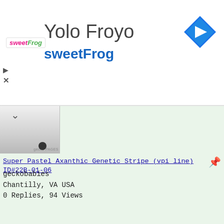[Figure (screenshot): sweetFrog Yolo Froyo advertisement banner with logo and navigation diamond icon]
[Figure (photo): Partial photo of gecko or reptile with bowl, geckobabies listing thumbnail]
Super Pastel Axanthic Genetic Stripe (vpi line) ID#22B-01-06
geckobabies
Chantilly, VA USA
0 Replies, 94 Views
[Figure (photo): Ball python coiled, black and yellow/gold pattern, on white background]
[Figure (screenshot): Next Step: Comfy - Lands End sandal advertisement. Shop Women's Sandals. www.landsend.com with navigation arrow button.]